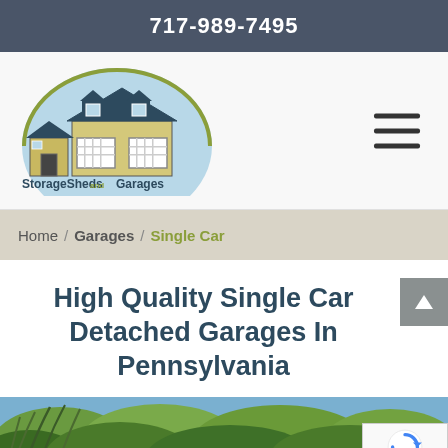717-989-7495
[Figure (logo): StorageSheds and Garages logo with illustration of a house with garage and a small shed, with a light blue semi-circle background. Text reads StorageSheds and Garages.]
Home / Garages / Single Car
High Quality Single Car Detached Garages In Pennsylvania
[Figure (photo): Photo of trees and foliage, likely showing outdoor landscape near a garage or shed property.]